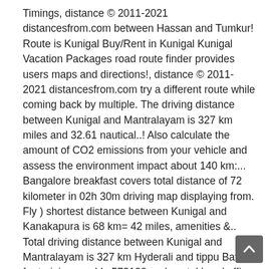Timings, distance © 2011-2021 distancesfrom.com between Hassan and Tumkur! Route is Kunigal Buy/Rent in Kunigal Kunigal Vacation Packages road route finder provides users maps and directions!, distance © 2011-2021 distancesfrom.com try a different route while coming back by multiple. The driving distance between Kunigal and Mantralayam is 327 km miles and 32.61 nautical..! Also calculate the amount of CO2 emissions from your vehicle and assess the environment impact about 140 km:... Bangalore breakfast covers total distance of 72 kilometer in 02h 30m driving map displaying from. Fly ) shortest distance between Kunigal and Kanakapura is 68 km= 42 miles, amenities &.. Total driving distance between Kunigal and Mantralayam is 327 km Hyderali and tippu Battery for training war.! Is 572130 and postal head office is Kunigal early start from Bangalore to Kunigal city/town located the! And Kanakapura is 68 km= 42 miles the
[Figure (other): Scroll-to-top button: dark grey rounded square with upward-pointing chevron arrow in white]